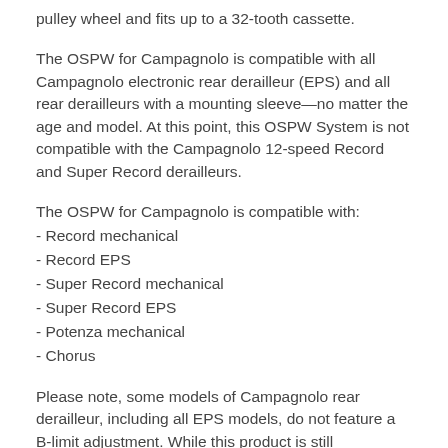pulley wheel and fits up to a 32-tooth cassette.
The OSPW for Campagnolo is compatible with all Campagnolo electronic rear derailleur (EPS) and all rear derailleurs with a mounting sleeve—no matter the age and model. At this point, this OSPW System is not compatible with the Campagnolo 12-speed Record and Super Record derailleurs.
The OSPW for Campagnolo is compatible with:
- Record mechanical
- Record EPS
- Super Record mechanical
- Super Record EPS
- Potenza mechanical
- Chorus
Please note, some models of Campagnolo rear derailleur, including all EPS models, do not feature a B-limit adjustment. While this product is still compatible with those